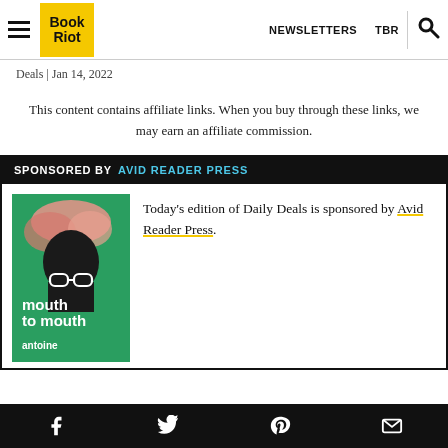Book Riot | NEWSLETTERS  TBR
Deals | Jan 14, 2022
This content contains affiliate links. When you buy through these links, we may earn an affiliate commission.
SPONSORED BY AVID READER PRESS
[Figure (illustration): Book cover for 'Mouth to Mouth' by Antoine, with a green background, a silhouette of a head with glasses, and pink/cloud imagery]
Today's edition of Daily Deals is sponsored by Avid Reader Press.
Social share bar with Facebook, Twitter, Pinterest, Email icons